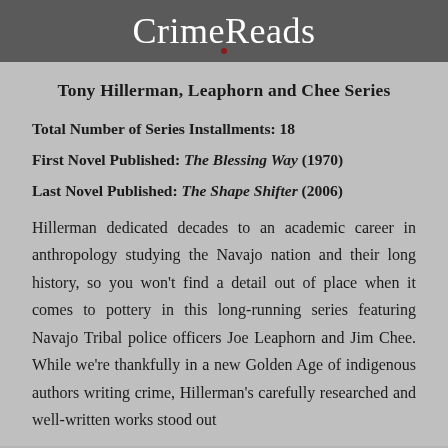CrimeReads
Tony Hillerman, Leaphorn and Chee Series
Total Number of Series Installments: 18
First Novel Published: The Blessing Way (1970)
Last Novel Published: The Shape Shifter (2006)
Hillerman dedicated decades to an academic career in anthropology studying the Navajo nation and their long history, so you won't find a detail out of place when it comes to pottery in this long-running series featuring Navajo Tribal police officers Joe Leaphorn and Jim Chee. While we're thankfully in a new Golden Age of indigenous authors writing crime, Hillerman's carefully researched and well-written works stood out